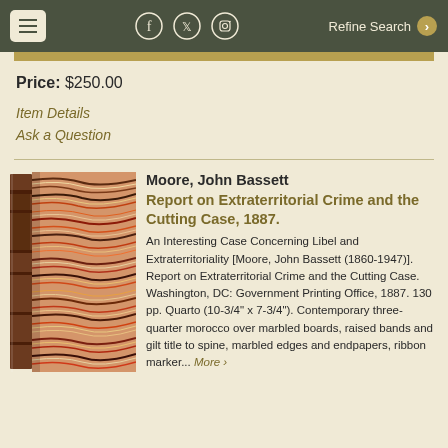Navigation bar with menu, social icons, and Refine Search
Price: $250.00
Item Details
Ask a Question
[Figure (photo): A narrow tall book with brown leather spine and multicolored marbled boards in red, orange, cream and brown tones]
Moore, John Bassett
Report on Extraterritorial Crime and the Cutting Case, 1887.
An Interesting Case Concerning Libel and Extraterritoriality [Moore, John Bassett (1860-1947)]. Report on Extraterritorial Crime and the Cutting Case. Washington, DC: Government Printing Office, 1887. 130 pp. Quarto (10-3/4" x 7-3/4"). Contemporary three-quarter morocco over marbled boards, raised bands and gilt title to spine, marbled edges and endpapers, ribbon marker... More >